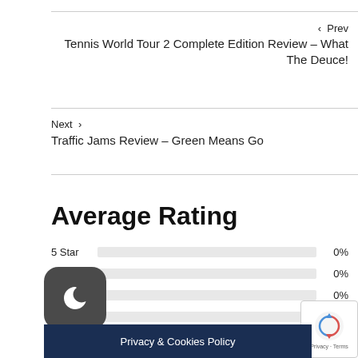‹  Prev
Tennis World Tour 2 Complete Edition Review – What The Deuce!
Next  ›
Traffic Jams Review – Green Means Go
Average Rating
5 Star  0%
4 Star  0%
0%
0%
1 Star
Privacy & Cookies Policy